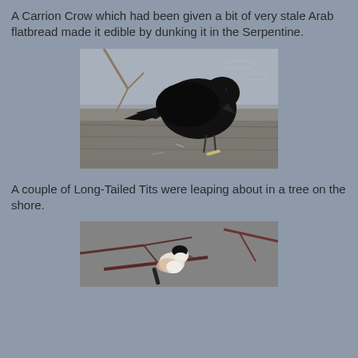A Carrion Crow which had been given a bit of very stale Arab flatbread made it edible by dunking it in the Serpentine.
[Figure (photo): A black Carrion Crow pecking at food on a stone surface near water]
A couple of Long-Tailed Tits were leaping about in a tree on the shore.
[Figure (photo): A Long-Tailed Tit bird perched among bare branches]